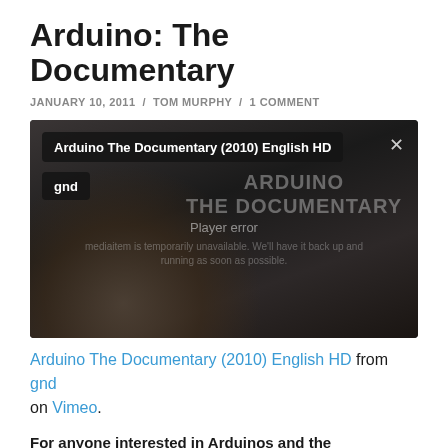Arduino: The Documentary
JANUARY 10, 2011 / TOM MURPHY / 1 COMMENT
[Figure (screenshot): Embedded Vimeo video player showing 'Arduino The Documentary (2010) English HD' with a player error message. The video thumbnail shows a hand holding an Arduino board. A title bar reads 'Arduino The Documentary (2010) English HD' and a badge reads 'gnd'. A close (×) button is visible top right. Watermark text reads 'ARDUINO THE DOCUMENTARY'. Player error message is visible in the center.]
Arduino The Documentary (2010) English HD from gnd on Vimeo.
For anyone interested in Arduinos and the possibilities that technology and open the or in the this fa